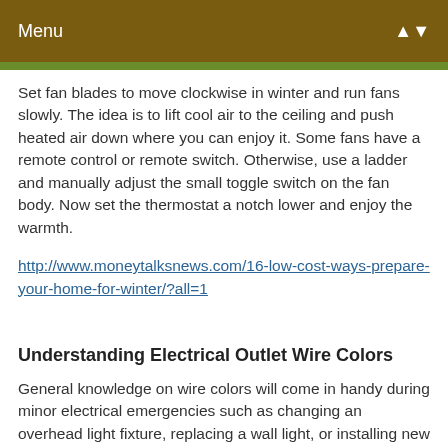Menu
Set fan blades to move clockwise in winter and run fans slowly. The idea is to lift cool air to the ceiling and push heated air down where you can enjoy it. Some fans have a remote control or remote switch. Otherwise, use a ladder and manually adjust the small toggle switch on the fan body. Now set the thermostat a notch lower and enjoy the warmth.
http://www.moneytalksnews.com/16-low-cost-ways-prepare-your-home-for-winter/?all=1
Understanding Electrical Outlet Wire Colors
General knowledge on wire colors will come in handy during minor electrical emergencies such as changing an overhead light fixture, replacing a wall light, or installing new bulbs, lamps, and switches. Wires are color-coded to avoid wiring